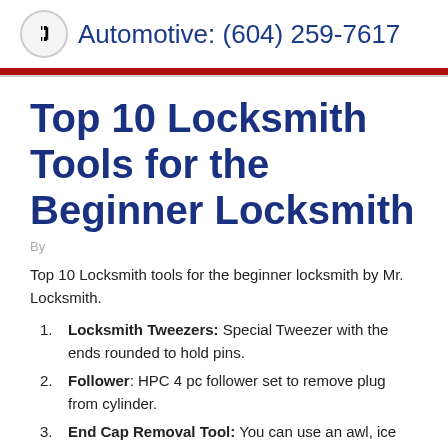Automotive: (604) 259-7617
Top 10 Locksmith Tools for the Beginner Locksmith
By
Top 10 Locksmith tools for the beginner locksmith by Mr. Locksmith.
Locksmith Tweezers: Special Tweezer with the ends rounded to hold pins.
Follower: HPC 4 pc follower set to remove plug from cylinder.
End Cap Removal Tool: You can use an awl, ice pick or pick but the end cap tool makes the job easy.
Kwikset Cylinder Removal Tool: This inexpensive tool